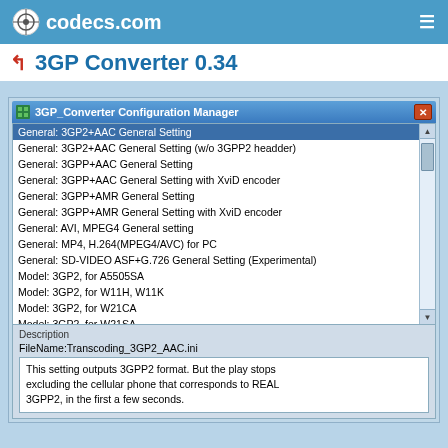codecs.com
3GP Converter 0.34
[Figure (screenshot): 3GP_Converter Configuration Manager dialog window showing a list of encoding presets including General and Model settings, with a Description section at bottom showing FileName: Transcoding_3GP2_AAC.ini and description text about 3GPP2 format output.]